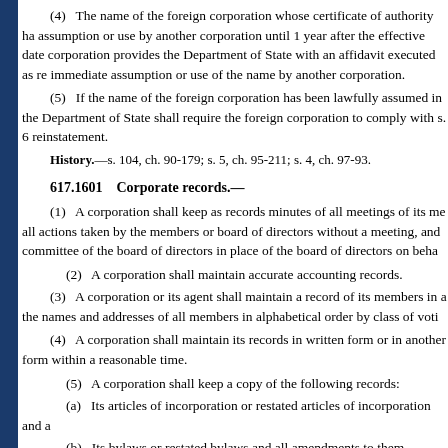(4) The name of the foreign corporation whose certificate of authority has assumption or use by another corporation until 1 year after the effective date corporation provides the Department of State with an affidavit executed as re immediate assumption or use of the name by another corporation.
(5) If the name of the foreign corporation has been lawfully assumed in the Department of State shall require the foreign corporation to comply with s. 6 reinstatement.
History.—s. 104, ch. 90-179; s. 5, ch. 95-211; s. 4, ch. 97-93.
617.1601 Corporate records.—
(1) A corporation shall keep as records minutes of all meetings of its me all actions taken by the members or board of directors without a meeting, and committee of the board of directors in place of the board of directors on beha
(2) A corporation shall maintain accurate accounting records.
(3) A corporation or its agent shall maintain a record of its members in a the names and addresses of all members in alphabetical order by class of voti
(4) A corporation shall maintain its records in written form or in another form within a reasonable time.
(5) A corporation shall keep a copy of the following records:
(a) Its articles of incorporation or restated articles of incorporation and a
(b) Its bylaws or restated bylaws and all amendments to them currently i
(c) The minutes of all members' meetings and records of all action taken past 3 years.